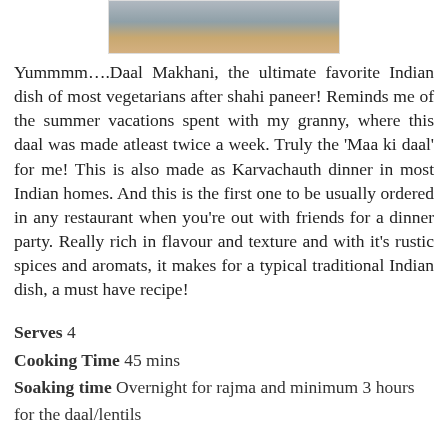[Figure (photo): Partial photo of a food dish, likely Daal Makhani, cropped at top of page]
Yummmm….Daal Makhani, the ultimate favorite Indian dish of most vegetarians after shahi paneer! Reminds me of the summer vacations spent with my granny, where this daal was made atleast twice a week. Truly the 'Maa ki daal' for me! This is also made as Karvachauth dinner in most Indian homes. And this is the first one to be usually ordered in any restaurant when you're out with friends for a dinner party. Really rich in flavour and texture and with it's rustic spices and aromats, it makes for a typical traditional Indian dish, a must have recipe!
Serves 4
Cooking Time 45 mins
Soaking time Overnight for rajma and minimum 3 hours for the daal/lentils